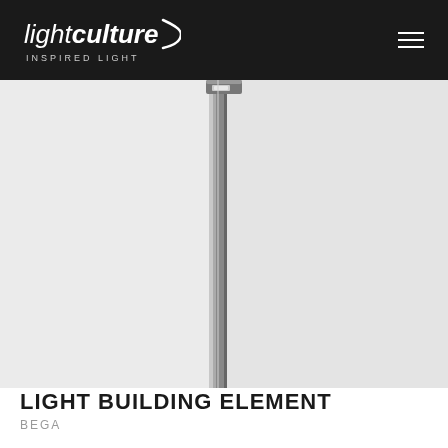lightculture INSPIRED LIGHT
[Figure (photo): A tall, slender outdoor light pole (BEGA Light Building Element) photographed against a light grey background. The pole is dark grey/anthracite and extremely slim, with a small lighting head at the top. The image is cropped to show the pole running vertically through the center of the frame.]
LIGHT BUILDING ELEMENT
BEGA